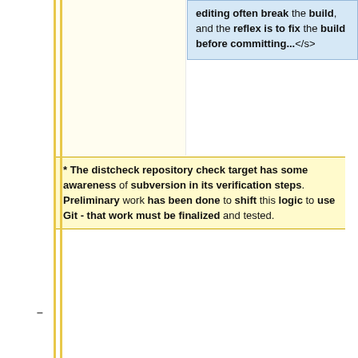editing often break the build, and the reflex is to fix the build before committing...</s>
* The distcheck repository check target has some awareness of subversion in its verification steps. Preliminary work has been done to shift this logic to use Git - that work must be finalized and tested.
* Once the VCS conversion is complete, remove the misc/repoconv directory - it will no longer be needed and the information it encodes will be preserved in the VCS history itself.